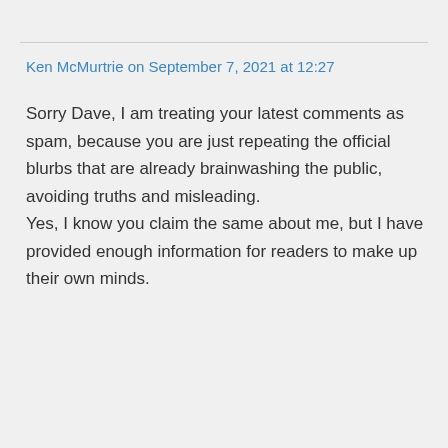Ken McMurtrie on September 7, 2021 at 12:27
Sorry Dave, I am treating your latest comments as spam, because you are just repeating the official blurbs that are already brainwashing the public, avoiding truths and misleading. Yes, I know you claim the same about me, but I have provided enough information for readers to make up their own minds.